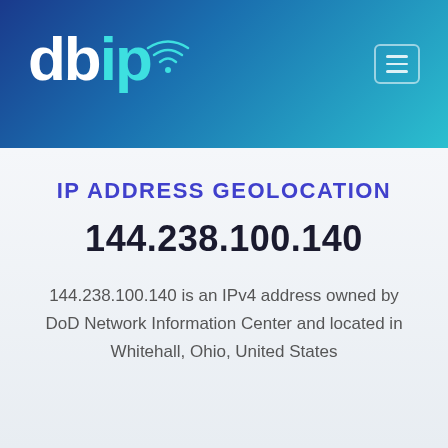[Figure (logo): db-ip logo with wifi signal icon above the dot of the 'i', text 'db' in white and 'ip' in cyan, on a blue gradient header background]
IP ADDRESS GEOLOCATION
144.238.100.140
144.238.100.140 is an IPv4 address owned by DoD Network Information Center and located in Whitehall, Ohio, United States